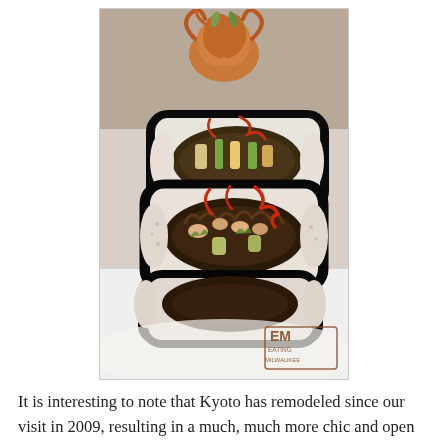[Figure (photo): Close-up photo of sushi rolls (maki) on a white plate, topped with sauce and garnish. The rolls are cut to show their cross-section with rice, nori, and various fillings including vegetables. A red chili sauce is drizzled on top. A watermark in the bottom right reads 'EM EATING MILWAUKEE'.]
It is interesting to note that Kyoto has remodeled since our visit in 2009, resulting in a much, much more chic and open